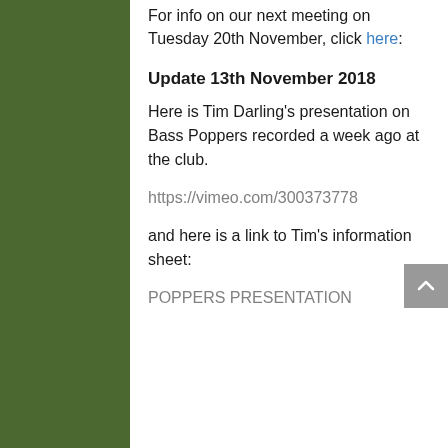For info on our next meeting on Tuesday 20th November, click here:
Update 13th November 2018
Here is Tim Darling's presentation on Bass Poppers recorded a week ago at the club.
https://vimeo.com/300373778
and here is a link to Tim's information sheet:
POPPERS PRESENTATION